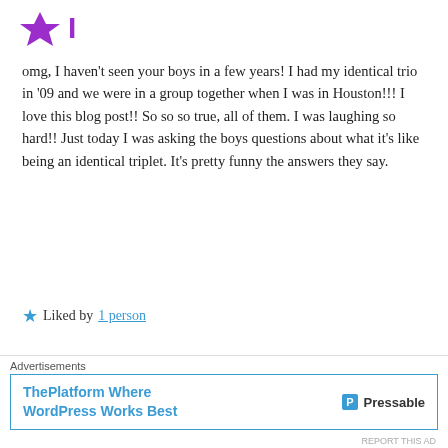[Figure (logo): Purple star/bookmark logo icon in top left]
omg, I haven't seen your boys in a few years! I had my identical trio in '09 and we were in a group together when I was in Houston!!! I love this blog post!! So so so true, all of them. I was laughing so hard!! Just today I was asking the boys questions about what it's like being an identical triplet. It's pretty funny the answers they say.
★ Liked by 1 person
GAYLE
February 16, 2016 at 5:19 am
Advertisements
ThePlatform Where WordPress Works Best  Pressable